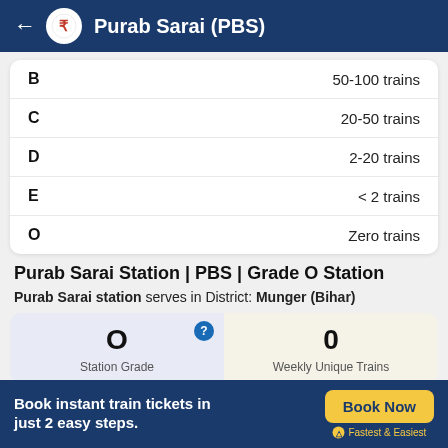Purab Sarai (PBS)
| Grade | Trains |
| --- | --- |
| B | 50-100 trains |
| C | 20-50 trains |
| D | 2-20 trains |
| E | < 2 trains |
| O | Zero trains |
Purab Sarai Station | PBS | Grade O Station
Purab Sarai station serves in District: Munger (Bihar)
O
Station Grade
0
Weekly Unique Trains
Book instant train tickets in just 2 easy steps. Book Now Fastest & Easiest